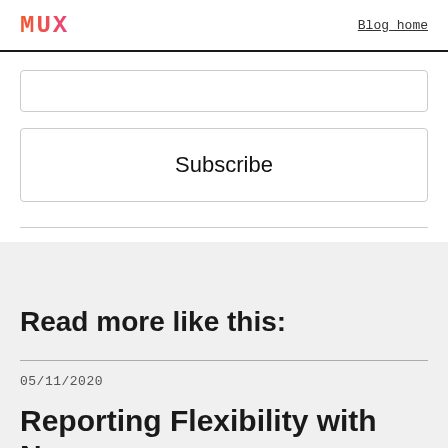MUX   Blog home
[Figure (other): Email input field (empty text box)]
Subscribe
Read more like this:
05/11/2020
Reporting Flexibility with New